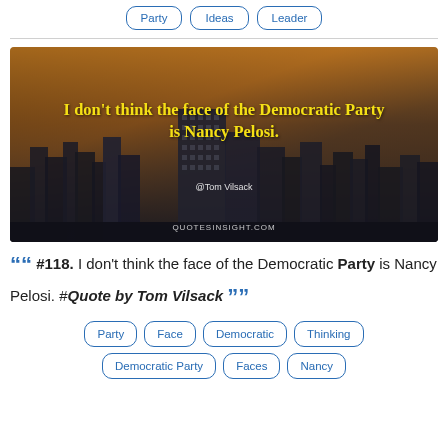Party
Ideas
Leader
[Figure (photo): City skyline at dusk with quote overlay: 'I don't think the face of the Democratic Party is Nancy Pelosi.' attributed to @Tom Vilsack, watermark QUOTESINSIGHT.COM]
““ #118. I don't think the face of the Democratic Party is Nancy Pelosi. #Quote by Tom Vilsack ””
Party
Face
Democratic
Thinking
Democratic Party
Faces
Nancy